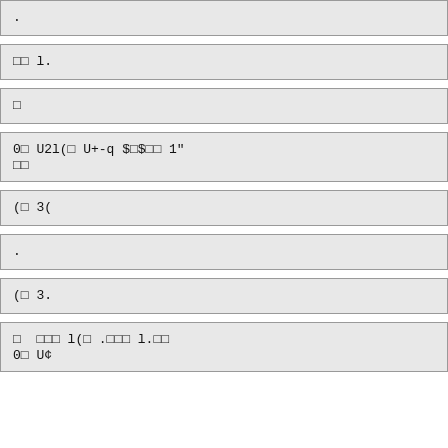.
□□ l.
□
0□ U2l(□ U+-q $□$□□ 1"
□□
(□ 3(
.
(□ 3.
□  □□□ l(□.□□□ l.□□
0□ U¢